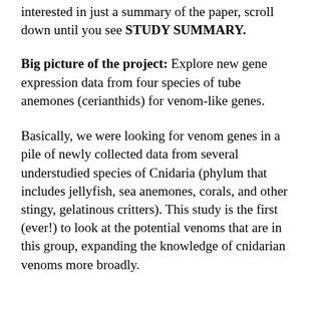interested in just a summary of the paper, scroll down until you see STUDY SUMMARY.
Big picture of the project: Explore new gene expression data from four species of tube anemones (cerianthids) for venom-like genes.
Basically, we were looking for venom genes in a pile of newly collected data from several understudied species of Cnidaria (phylum that includes jellyfish, sea anemones, corals, and other stingy, gelatinous critters). This study is the first (ever!) to look at the potential venoms that are in this group, expanding the knowledge of cnidarian venoms more broadly.